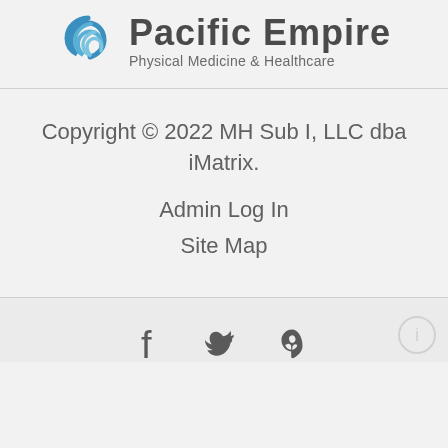[Figure (logo): Pacific Empire Physical Medicine & Healthcare logo with blue swirl icon and text]
Copyright © 2022 MH Sub I, LLC dba iMatrix.
Admin Log In
Site Map
[Figure (illustration): Social media icons: Facebook, Twitter, Yelp]